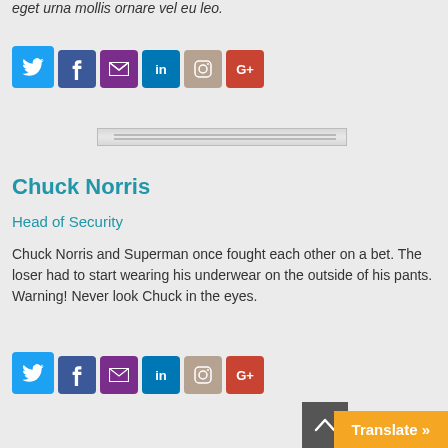eget urna mollis ornare vel eu leo.
[Figure (infographic): Row of social media icon buttons: Twitter (blue bird), Facebook (f), Email (envelope), LinkedIn (in), Instagram (camera), Google+ (G+)]
[Figure (infographic): Horizontal divider bar with double lines]
Chuck Norris
Head of Security
Chuck Norris and Superman once fought each other on a bet. The loser had to start wearing his underwear on the outside of his pants. Warning! Never look Chuck in the eyes.
[Figure (infographic): Row of social media icon buttons: Twitter (blue bird), Facebook (f), Email (envelope), LinkedIn (in), Instagram (camera), Google+ (G+)]
Translate »